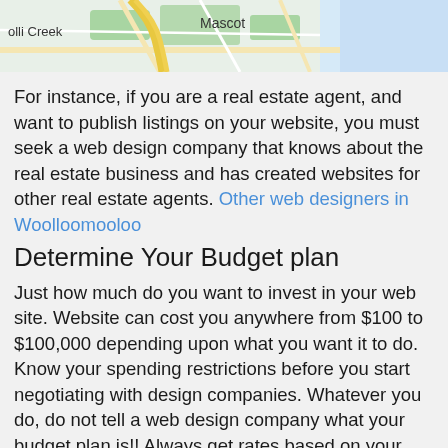[Figure (map): A Google Maps screenshot showing a street map with labels 'olli Creek' and 'Mascot', with roads and green areas visible.]
For instance, if you are a real estate agent, and want to publish listings on your website, you must seek a web design company that knows about the real estate business and has created websites for other real estate agents. Other web designers in Woolloomooloo
Determine Your Budget plan
Just how much do you want to invest in your web site. Website can cost you anywhere from $100 to $100,000 depending upon what you want it to do. Know your spending restrictions before you start negotiating with design companies. Whatever you do, do not tell a web design company what your budget plan is!! Always get rates based on your needs, not you budget plan.
Choose a Web Design Company
Now select a few web design companies...